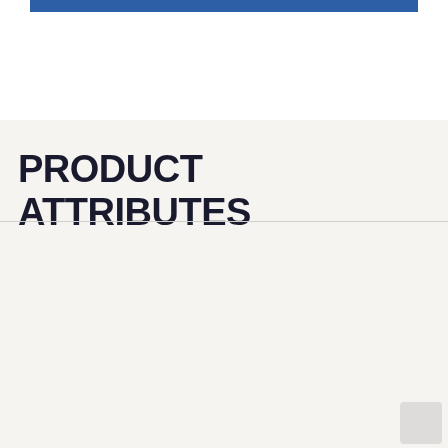[Figure (other): Blue decorative bar at top of page]
PRODUCT ATTRIBUTES
| Attribute | Value |
| --- | --- |
| COLLECTION | Color Wheel Collection - Linear |
| COLOR | Matte Desert Gray |
| SHAPE | Rectangle |
| APPLICATION | Residential And Commercial |